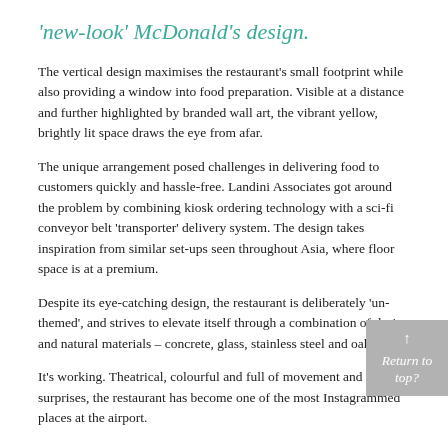'new-look' McDonald's design.
The vertical design maximises the restaurant's small footprint while also providing a window into food preparation. Visible at a distance and further highlighted by branded wall art, the vibrant yellow, brightly lit space draws the eye from afar.
The unique arrangement posed challenges in delivering food to customers quickly and hassle-free. Landini Associates got around the problem by combining kiosk ordering technology with a sci-fi conveyor belt 'transporter' delivery system. The design takes inspiration from similar set-ups seen throughout Asia, where floor space is at a premium.
Despite its eye-catching design, the restaurant is deliberately 'un-themed', and strives to elevate itself through a combination of design and natural materials – concrete, glass, stainless steel and oak.
It's working. Theatrical, colourful and full of movement and surprises, the restaurant has become one of the most Instagrammed places at the airport.